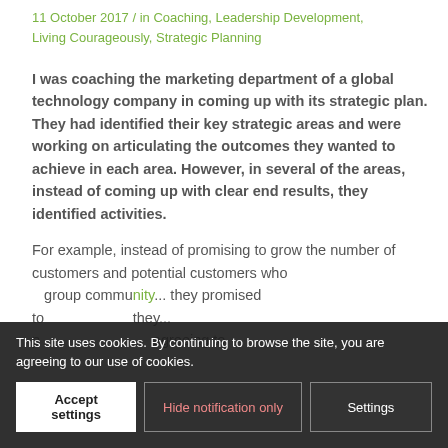11 October 2017 / in Coaching, Leadership Development, Living Courageously, Strategic Planning
I was coaching the marketing department of a global technology company in coming up with its strategic plan. They had identified their key strategic areas and were working on articulating the outcomes they wanted to achieve in each area. However, in several of the areas, instead of coming up with clear end results, they identified activities.
For example, instead of promising to grow the number of customers and potential customers who ... group commu... they promised to... they... p... you were agreeing to...
This site uses cookies. By continuing to browse the site, you are agreeing to our use of cookies.